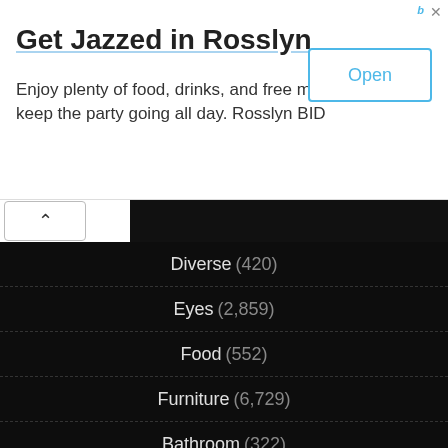Get Jazzed in Rosslyn
Enjoy plenty of food, drinks, and free music to keep the party going all day. Rosslyn BID
Diverse (420)
Eyes (2,859)
Food (552)
Furniture (6,729)
Bathroom (322)
Bedroom (977)
Dining room (597)
Hall (92)
Kidsroom (280)